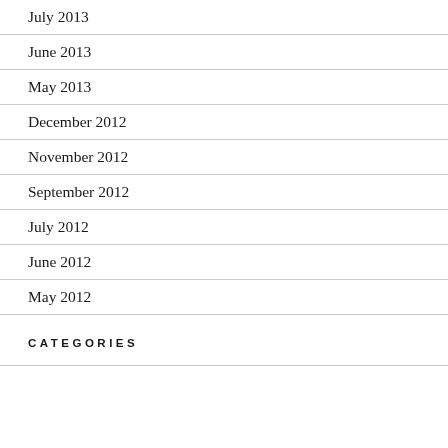July 2013
June 2013
May 2013
December 2012
November 2012
September 2012
July 2012
June 2012
May 2012
CATEGORIES